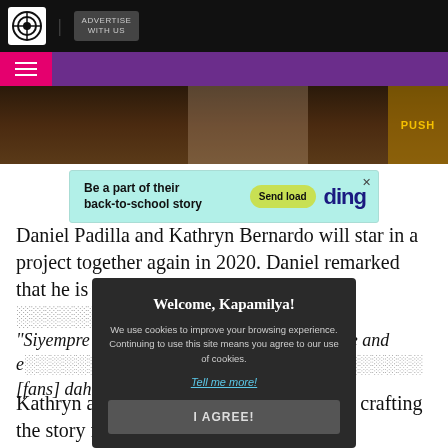ABS-CBN | ADVERTISE WITH US
[Figure (screenshot): Purple navigation bar with hamburger menu icon on pink/magenta background tab]
[Figure (photo): Hero image showing people, partially visible, with PUSH logo at right]
[Figure (screenshot): Ding advertisement banner: 'Be a part of their back-to-school story' with 'Send load' button and 'ding' logo on cyan background]
Daniel Padilla and Kathryn Bernardo will star in a project together again in 2020. Daniel remarked that he is already very elated [...]end.
“Siyempre k[...] een a long time and e[...] win namin. Ayon, ngay[...] [fans] dahil siyempre it[...]
[Figure (screenshot): Cookie consent modal: 'Welcome, Kapamilya!' with text 'We use cookies to improve your browsing experience. Continuing to use this site means you agree to our use of cookies.' with 'Tell me more!' link and 'I AGREE!' button]
Kathryn added that Dreamscape is already crafting the story for their upcoming show.